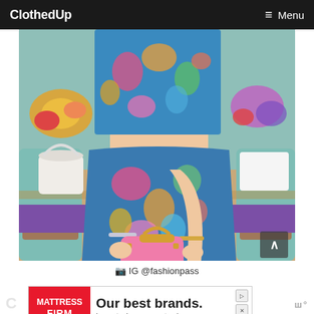ClothedUp  Menu
[Figure (photo): Woman wearing colorful floral print two-piece outfit with crop top and wrap skirt, holding a pink studded handbag, standing at a restaurant or event venue with teal chairs and floral arrangements.]
📷 IG @fashionpass
[Figure (other): Mattress Firm advertisement banner: 'Our best brands. Lowest prices, guaranteed.']